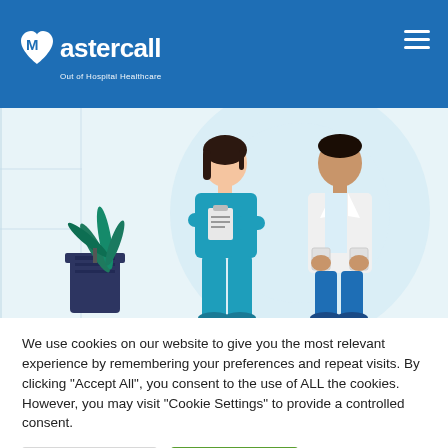[Figure (logo): Mastercall Out of Hospital Healthcare logo in white on blue header background]
[Figure (illustration): Medical staff illustration showing a nurse in blue scrubs holding a clipboard and a doctor in a white coat, with a potted plant and light blue background]
We use cookies on our website to give you the most relevant experience by remembering your preferences and repeat visits. By clicking "Accept All", you consent to the use of ALL the cookies. However, you may visit "Cookie Settings" to provide a controlled consent.
[Figure (other): Cookie Settings button (grey) and Accept All button (green)]